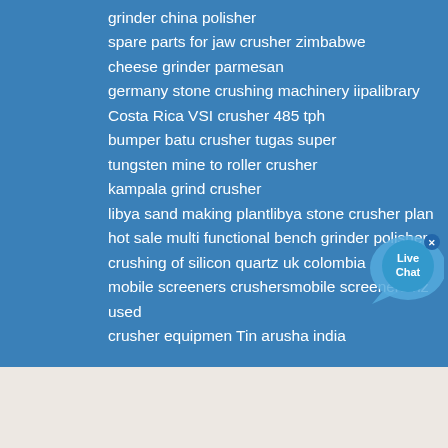grinder china polisher
spare parts for jaw crusher zimbabwe
cheese grinder parmesan
germany stone crushing machinery iipalibrary
Costa Rica VSI crusher 485 tph
bumper batu crusher tugas super
tungsten mine to roller crusher
kampala grind crusher
libya sand making plantlibya stone crusher plant
hot sale multi functional bench grinder polisher
crushing of silicon quartz uk colombia
mobile screeners crushersmobile screeners nz used
crusher equipmen Tin arusha india
© 2021 All Right By